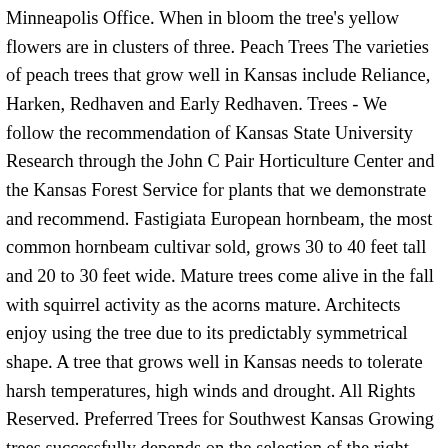Minneapolis Office. When in bloom the tree's yellow flowers are in clusters of three. Peach Trees The varieties of peach trees that grow well in Kansas include Reliance, Harken, Redhaven and Early Redhaven. Trees - We follow the recommendation of Kansas State University Research through the John C Pair Horticulture Center and the Kansas Forest Service for plants that we demonstrate and recommend. Fastigiata European hornbeam, the most common hornbeam cultivar sold, grows 30 to 40 feet tall and 20 to 30 feet wide. Mature trees come alive in the fall with squirrel activity as the acorns mature. Architects enjoy using the tree due to its predictably symmetrical shape. A tree that grows well in Kansas needs to tolerate harsh temperatures, high winds and drought. All Rights Reserved. Preferred Trees for Southwest Kansas Growing trees successfully depends on the selection of the right trees for the intended site. Consider how your tree is sold if you choose to plant in the fall. These are available for planting field windbreaks to protect rural